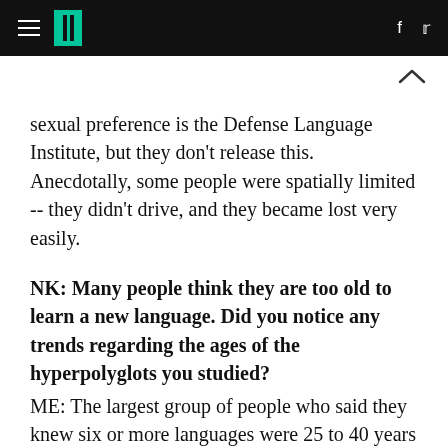HuffPost
sexual preference is the Defense Language Institute, but they don't release this. Anecdotally, some people were spatially limited -- they didn't drive, and they became lost very easily.
NK: Many people think they are too old to learn a new language. Did you notice any trends regarding the ages of the hyperpolyglots you studied?
ME: The largest group of people who said they knew six or more languages were 25 to 40 years old (44 percent); the 40 to 60 set comprised 27 percent. The 18 to 25 set were only 19 percent